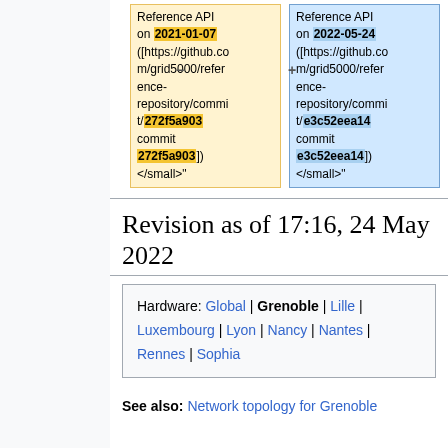[Figure (other): Diff comparison showing two versions of Reference API. Left (yellow): 2021-01-07 with commit 272f5a903. Right (blue): 2022-05-24 with commit e3c52eea14.]
Revision as of 17:16, 24 May 2022
Hardware: Global | Grenoble | Lille | Luxembourg | Lyon | Nancy | Nantes | Rennes | Sophia
See also: Network topology for Grenoble